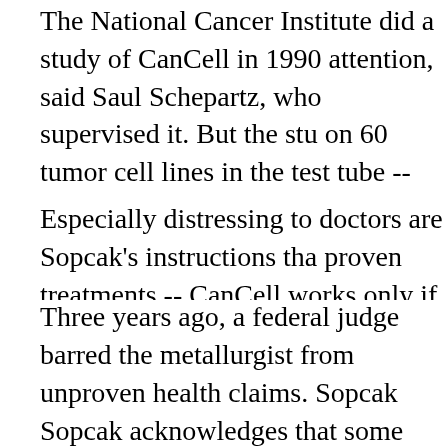The National Cancer Institute did a study of CanCell in 1990 attention, said Saul Schepartz, who supervised it. But the study on 60 tumor cell lines in the test tube -- showed just the opposite: it was not effective, and there was no reason to evaluate it further.
Especially distressing to doctors are Sopcak's instructions that proven treatments -- CanCell works only if taken alone, he said.
Three years ago, a federal judge barred the metallurgist from unproven health claims. Sopcak ignored the order until last fall, when him.
"We've gotten more than 100 calls on CanCell from all over the from people who are angry that it was banned, and for every there who want to call," said Evelyn DeNike, an FDA spokeswoman.
"There is no evidence that would support its use for AIDS," said Project Inform, a San Francisco AIDS organization receptive to
Sopcak acknowledges that some CanCell users have died, in